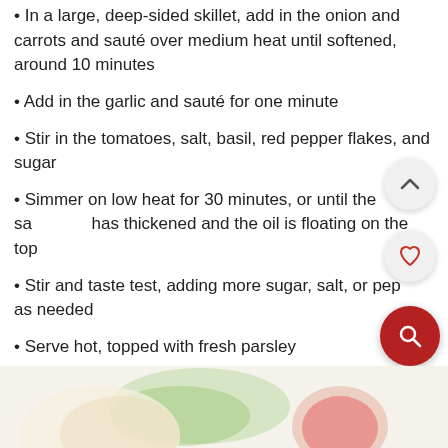In a large, deep-sided skillet, add in the onion and carrots and sauté over medium heat until softened, around 10 minutes
Add in the garlic and sauté for one minute
Stir in the tomatoes, salt, basil, red pepper flakes, and sugar
Simmer on low heat for 30 minutes, or until the sauce has thickened and the oil is floating on the top
Stir and taste test, adding more sugar, salt, or pepper as needed
Serve hot, topped with fresh parsley
[Figure (photo): Food image showing vegetables, partially visible at the bottom of the page]